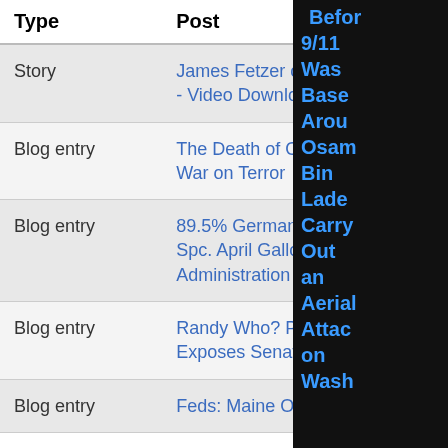| Type | Post | Author | Replies |
| --- | --- | --- | --- |
| Story | James Fetzer on Hannity & Colmes - Video Download | dz |  |
| Blog entry | The Death of Osama, 9/11 and the War on Terror | shure |  |
| Blog entry | 89.5% Germans doubt OCT. Army Spc. April Gallop sues Bush Administration on April 5th | TruthMakesPeace |  |
| Blog entry | Randy Who? Philly 9/11 Truth Exposes Senator Bob Graham | Temple911Truth | 22 |
| Blog entry | Feds: Maine OWS Attack | BMAC | 0 |
Before 9/11 Was Based Around Osama Bin Laden Carry Out an Aerial Attack on Wash
receives no or corporate rely on your support. 10 ye
Donate